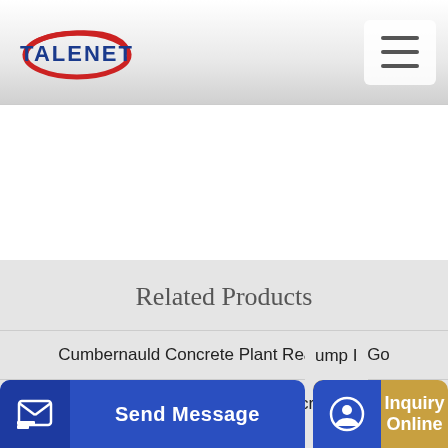[Figure (logo): Talenet logo with red swoosh and blue text]
[Figure (other): Hamburger menu icon (three horizontal lines)]
Related Products
Cumbernauld Concrete Plant Readymix2Go
Powell Concrete Pumping B a Concrete Pumping
ump I
Send Message | Inquiry Online